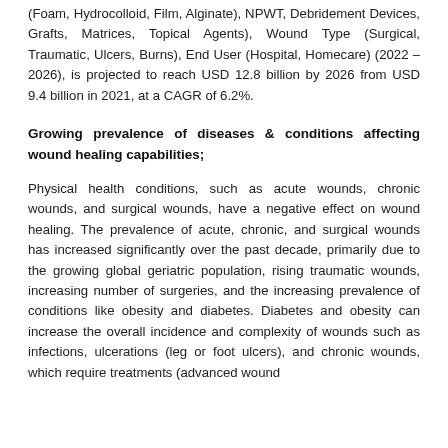(Foam, Hydrocolloid, Film, Alginate), NPWT, Debridement Devices, Grafts, Matrices, Topical Agents), Wound Type (Surgical, Traumatic, Ulcers, Burns), End User (Hospital, Homecare) (2022 – 2026), is projected to reach USD 12.8 billion by 2026 from USD 9.4 billion in 2021, at a CAGR of 6.2%.
Growing prevalence of diseases & conditions affecting wound healing capabilities;
Physical health conditions, such as acute wounds, chronic wounds, and surgical wounds, have a negative effect on wound healing. The prevalence of acute, chronic, and surgical wounds has increased significantly over the past decade, primarily due to the growing global geriatric population, rising traumatic wounds, increasing number of surgeries, and the increasing prevalence of conditions like obesity and diabetes. Diabetes and obesity can increase the overall incidence and complexity of wounds such as infections, ulcerations (leg or foot ulcers), and chronic wounds, which require treatments (advanced wound